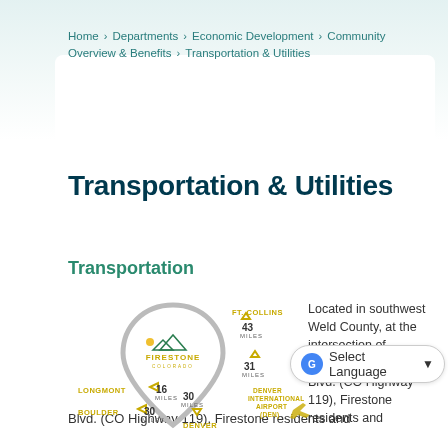Home › Departments › Economic Development › Community Overview & Benefits › Transportation & Utilities
Transportation & Utilities
Transportation
[Figure (infographic): Firestone Colorado location map infographic showing distances: Ft. Collins 43 miles (north), 31 miles to Denver International Airport (DEN), Longmont 16 miles, Boulder 30 miles, Denver 30 miles. Firestone Colorado logo in center teardrop shape.]
Located in southwest Weld County, at the intersection of Interstate Firestone Blvd. (CO Highway 119), Firestone residents and